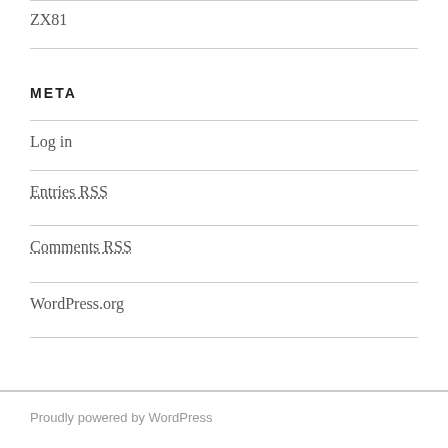ZX81
META
Log in
Entries RSS
Comments RSS
WordPress.org
Proudly powered by WordPress